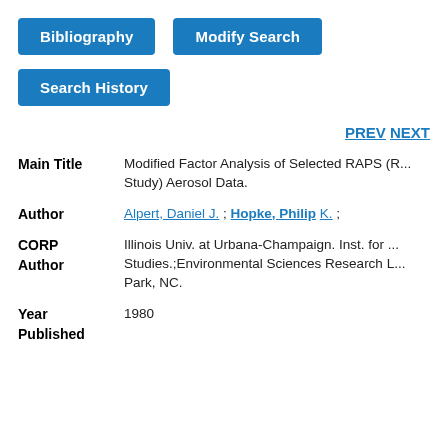[Figure (screenshot): Blue button labeled 'Bibliography']
[Figure (screenshot): Blue button labeled 'Modify Search']
[Figure (screenshot): Blue button labeled 'Search History']
PREV NEXT
| Field | Value |
| --- | --- |
| Main Title | Modified Factor Analysis of Selected RAPS (R... Study) Aerosol Data. |
| Author | Alpert, Daniel J. ; Hopke, Philip K. ; |
| CORP Author | Illinois Univ. at Urbana-Champaign. Inst. for ... Studies.;Environmental Sciences Research L... Park, NC. |
| Year Published | 1980 |